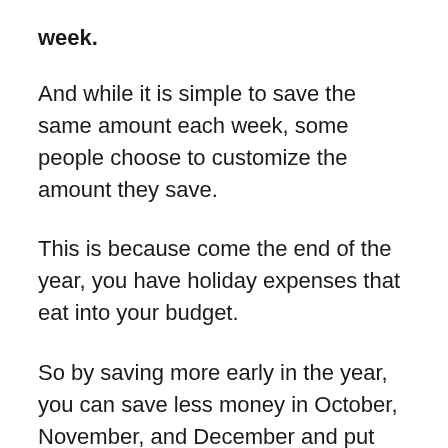week.
And while it is simple to save the same amount each week, some people choose to customize the amount they save.
This is because come the end of the year, you have holiday expenses that eat into your budget.
So by saving more early in the year, you can save less money in October, November, and December and put the extra money towards holiday gifts.